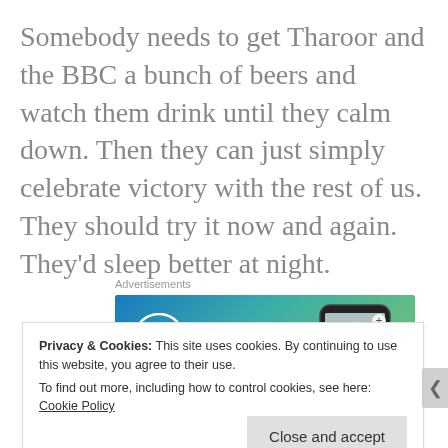Somebody needs to get Tharoor and the BBC a bunch of beers and watch them drink until they calm down. Then they can just simply celebrate victory with the rest of us. They should try it now and again. They’d sleep better at night.
Advertisements
[Figure (other): WordPress advertisement banner with blue-green gradient background, WordPress logo (W in circle) on left, and a phone mockup showing a waterfall/landscape image on the right.]
Privacy & Cookies: This site uses cookies. By continuing to use this website, you agree to their use.
To find out more, including how to control cookies, see here: Cookie Policy
Close and accept